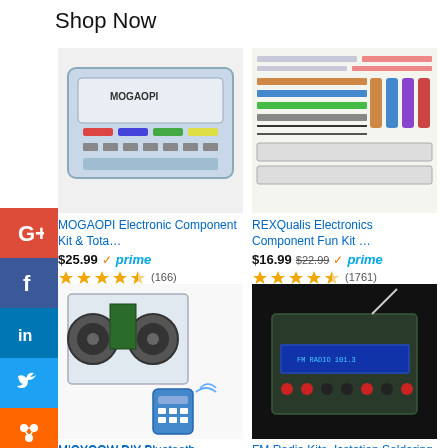Shop Now
[Figure (photo): MOGAOPI Electronic Component Kit in plastic case with components]
MOGAOPI Electronic Component Kit & Tota…
$25.99 ✓prime ★★★★½ (166)
[Figure (photo): REXQualis Electronics Component Fun Kit with various electronic components]
REXQualis Electronics Component Fun Kit …
$16.99 $22.99 ✓prime ★★★★½ (1761)
[Figure (photo): MiOYOOW DIY Bluetooth-Compatible Speaker Kit with remote control]
MiOYOOW DIY Bluetooth-Compatible Speaker K…
[Figure (photo): FM Radio Kits Icstation Soldering Projects DIY Electronics kit]
FM Radio Kits, Icstation Soldering Projects DIY El…